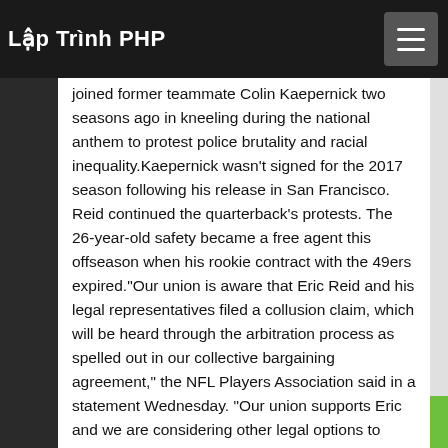Lập Trình PHP
joined former teammate Colin Kaepernick two seasons ago in kneeling during the national anthem to protest police brutality and racial inequality.Kaepernick wasn't signed for the 2017 season following his release in San Francisco. Reid continued the quarterback's protests. The 26-year-old safety became a free agent this offseason when his rookie contract with the 49ers expired."Our union is aware that Eric Reid and his legal representatives filed a collusion claim, which will be heard through the arbitration process as spelled out in our collective bargaining agreement," the NFL Players Association said in a statement Wednesday. "Our union supports Eric and we are considering other legal options to pursue."Kaepernick previously filed a collusion grievance that is in the discovery stage. He deposed several league owners and executives, including Commissioner Roger Goodell. Reid is using